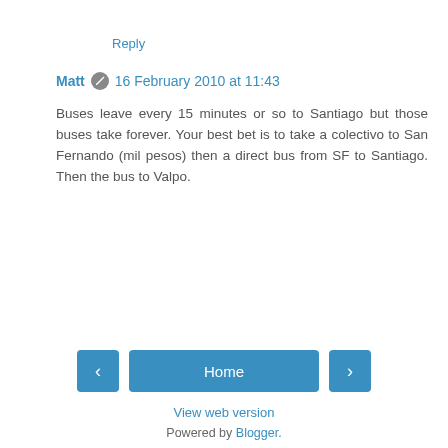Reply
Matt  16 February 2010 at 11:43
Buses leave every 15 minutes or so to Santiago but those buses take forever. Your best bet is to take a colectivo to San Fernando (mil pesos) then a direct bus from SF to Santiago. Then the bus to Valpo.
Reply
Home
View web version
Powered by Blogger.